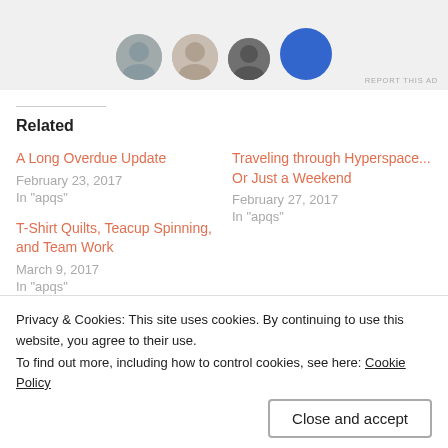[Figure (screenshot): Ad banner with user avatars at top of page]
Related
A Long Overdue Update
February 23, 2017
In "apqs"
Traveling through Hyperspace... Or Just a Weekend
February 27, 2017
In "apqs"
T-Shirt Quilts, Teacup Spinning, and Team Work
March 9, 2017
In "apqs"
Privacy & Cookies: This site uses cookies. By continuing to use this website, you agree to their use.
To find out more, including how to control cookies, see here: Cookie Policy
Close and accept